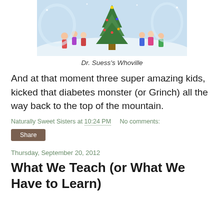[Figure (illustration): Illustration of Dr. Seuss's Whoville scene with cartoon characters around a Christmas tree in a snowy setting]
Dr. Suess's Whoville
And at that moment three super amazing kids, kicked that diabetes monster (or Grinch) all the way back to the top of the mountain.
Naturally Sweet Sisters at 10:24 PM    No comments:
Share
Thursday, September 20, 2012
What We Teach (or What We Have to Learn)